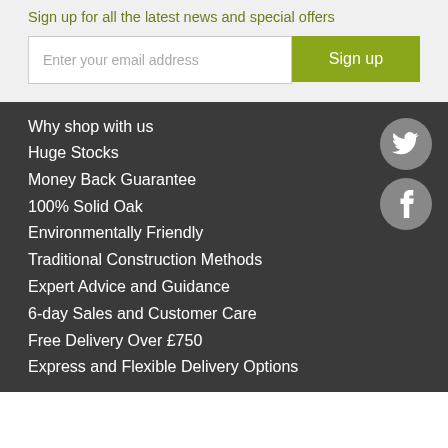Sign up for all the latest news and special offers
Enter your email address
Sign up
Why shop with us
Huge Stocks
Money Back Guarantee
100% Solid Oak
Environmentally Friendly
Traditional Construction Methods
Expert Advice and Guidance
6-day Sales and Customer Care
Free Delivery Over £750
Express and Flexible Delivery Options
[Figure (illustration): Twitter bird icon in grey circle and Facebook 'f' icon in grey circle]